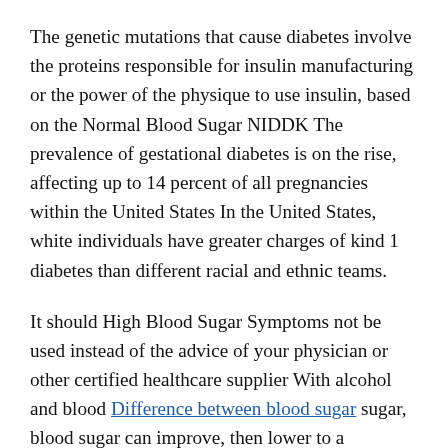The genetic mutations that cause diabetes involve the proteins responsible for insulin manufacturing or the power of the physique to use insulin, based on the Normal Blood Sugar NIDDK The prevalence of gestational diabetes is on the rise, affecting up to 14 percent of all pregnancies within the United States In the United States, white individuals have greater charges of kind 1 diabetes than different racial and ethnic teams.
It should High Blood Sugar Symptoms not be used instead of the advice of your physician or other certified healthcare supplier With alcohol and blood Difference between blood sugar sugar, blood sugar can improve, then lower to a dangerous point This happens because alcohol is excessive in sugar, inflicting an initial spike.
This will assist you to get started with testing at house